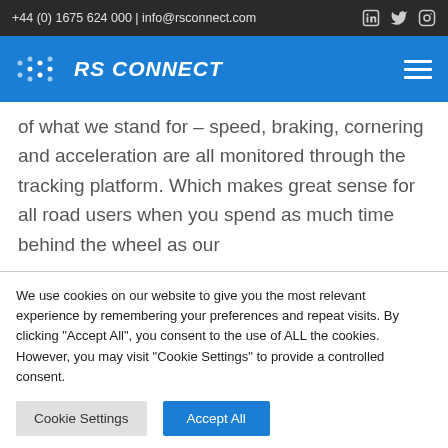+44 (0) 1675 624 000 | info@rsconnect.com
RS CONNECT
of what we stand for – speed, braking, cornering and acceleration are all monitored through the tracking platform. Which makes great sense for all road users when you spend as much time behind the wheel as our
We use cookies on our website to give you the most relevant experience by remembering your preferences and repeat visits. By clicking "Accept All", you consent to the use of ALL the cookies. However, you may visit "Cookie Settings" to provide a controlled consent.
Cookie Settings
Accept All